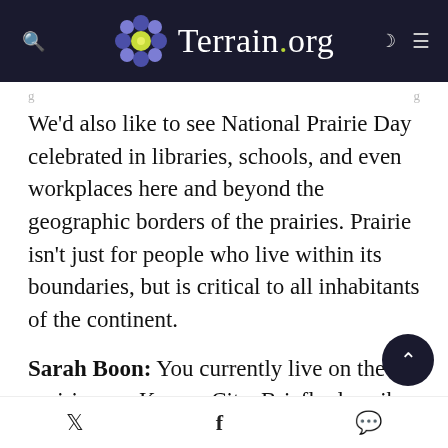Terrain.org
We’d also like to see National Prairie Day celebrated in libraries, schools, and even workplaces here and beyond the geographic borders of the prairies. Prairie isn’t just for people who live within its boundaries, but is critical to all inhabitants of the continent.
Sarah Boon: You currently live on the prairie near Kansas City. Briefly describe what makes this home to you. Has your sense of home changed over the time? What has driven that change?
Twitter, Facebook, Messenger share icons